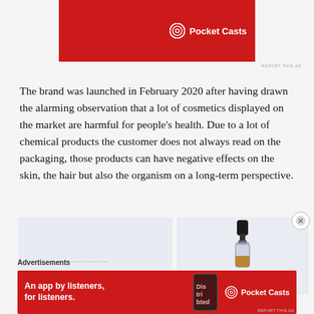[Figure (other): Pocket Casts advertisement banner at top, red background with Pocket Casts logo and text]
The brand was launched in February 2020 after having drawn the alarming observation that a lot of cosmetics displayed on the market are harmful for people's health. Due to a lot of chemical products the customer does not always read on the packaging, those products can have negative effects on the skin, the hair but also the organism on a long-term perspective.
[Figure (photo): Two side-by-side images: left showing a light-colored product image with faint text, right showing a glass dropper bottle with amber liquid on a light background]
Advertisements
[Figure (other): Pocket Casts advertisement at bottom with text 'An app by listeners, for listeners.' and Pocket Casts logo on red background]